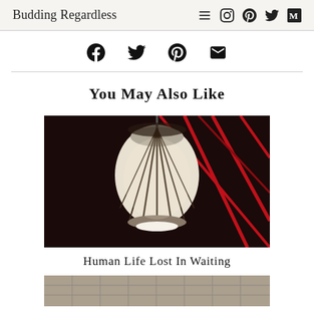Budding Regardless
[Figure (other): Social share icons: Facebook, Twitter, Pinterest, Email]
You May Also Like
[Figure (photo): Photo of a hanging lantern against a dark ceiling with red geometric grid lines]
Human Life Lost In Waiting
[Figure (photo): Partial photo of a second article, showing a tiled or gridded surface]